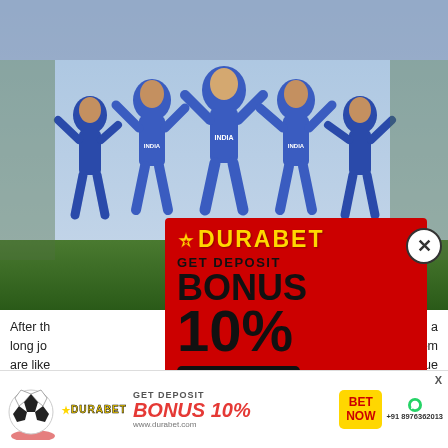[Figure (photo): Cricket players in blue India jerseys celebrating, running with arms raised]
After th... ve a long jo... them are like... league Auction... red- ball cri...
[Figure (infographic): Durabet popup ad: GET DEPOSIT BONUS 10%, BET NOW button, +91 8976362013 phone, soccer ball graphic, red background, yellow logo]
“Both a... ophy).
[Figure (infographic): Durabet bottom banner ad: BONUS 10% GET DEPOSIT, BET NOW, +91 8976362013, www.durabet.com]